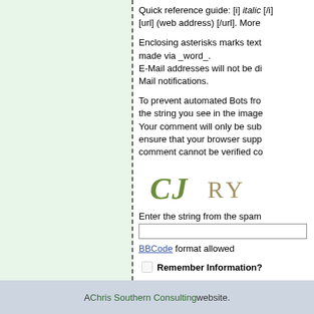Quick reference guide: [i] italic [/i] [url] (web address) [/url]. More
Enclosing asterisks marks text made via _word_. E-Mail addresses will not be displayed. Mail notifications.
To prevent automated Bots from commenting, we kindly ask you to resolve the string you see in the image below. Your comment will only be submitted if the strings match. Please ensure that your browser supports and accepts cookies, or your comment cannot be verified correctly.
[Figure (other): CAPTCHA image showing letters CJ RY in stylized green and tan text]
Enter the string from the spam
BBCode format allowed
Remember Information?
Subscribe to this entry
A Chris Southern Consulting website.